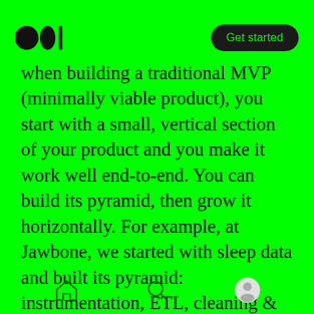Medium logo | Get started
when building a traditional MVP (minimally viable product), you start with a small, vertical section of your product and you make it work well end-to-end. You can build its pyramid, then grow it horizontally. For example, at Jawbone, we started with sleep data and built its pyramid: instrumentation, ETL, cleaning & organization, label capturing and definitions, metrics (what's the average # of hours people sleep every night? What about naps? What's a nap?), cross-segment analyses all the way to data stories and machine learning-driven data products (automatic sleep
home icon | search icon | profile icon